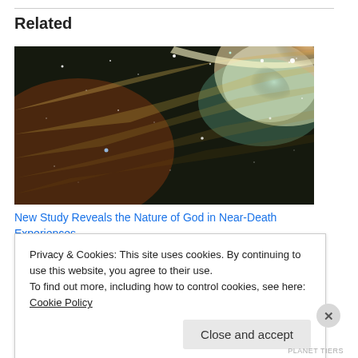Related
[Figure (photo): Space nebula scene with glowing light streaks and star field on dark background with orange/teal hues]
New Study Reveals the Nature of God in Near-Death Experiences
Privacy & Cookies: This site uses cookies. By continuing to use this website, you agree to their use.
To find out more, including how to control cookies, see here: Cookie Policy
Close and accept